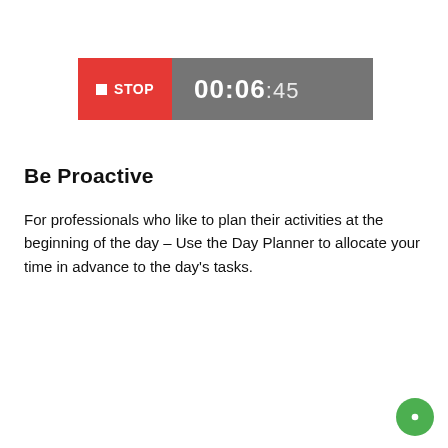[Figure (screenshot): A stop timer UI widget showing a red STOP button and a timer reading 00:06:45 on a grey background.]
Be Proactive
For professionals who like to plan their activities at the beginning of the day – Use the Day Planner to allocate your time in advance to the day's tasks.
[Figure (screenshot): Edit Activity screen with purple header bar, showing Monday May 9, Project field with Research & Development, and Task field with New portal system.]